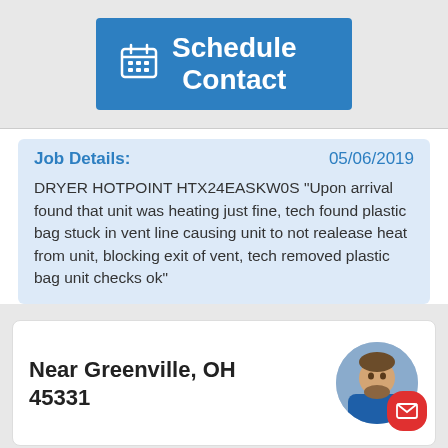[Figure (screenshot): Blue button with calendar icon labeled 'Schedule Contact']
Job Details: 05/06/2019
DRYER HOTPOINT HTX24EASKW0S "Upon arrival found that unit was heating just fine, tech found plastic bag stuck in vent line causing unit to not realease heat from unit, blocking exit of vent, tech removed plastic bag unit checks ok"
Near Greenville, OH 45331
[Figure (photo): Circular avatar photo of a man in a blue shirt, with a red email button overlay]